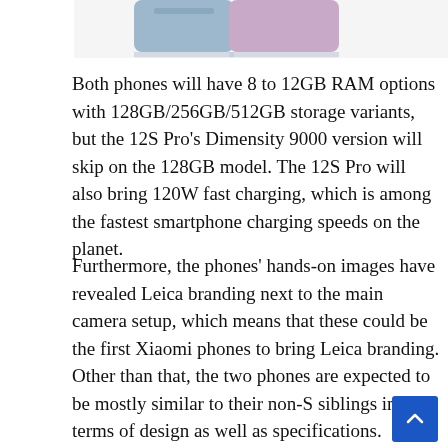[Figure (photo): Partial view of two smartphones (blue and purple/pink colors) against a light background, cropped at top of page]
Both phones will have 8 to 12GB RAM options with 128GB/256GB/512GB storage variants, but the 12S Pro's Dimensity 9000 version will skip on the 128GB model. The 12S Pro will also bring 120W fast charging, which is among the fastest smartphone charging speeds on the planet.
Furthermore, the phones' hands-on images have revealed Leica branding next to the main camera setup, which means that these could be the first Xiaomi phones to bring Leica branding. Other than that, the two phones are expected to be mostly similar to their non-S siblings in terms of design as well as specifications.